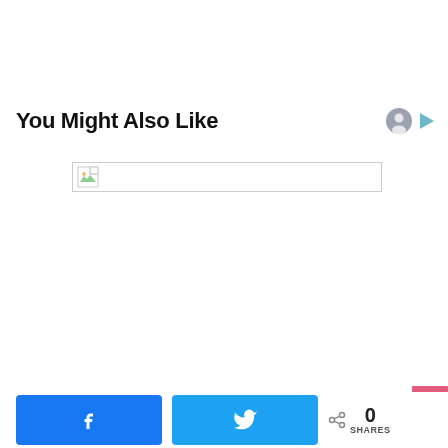You Might Also Like
[Figure (other): Broken/unloaded image placeholder with document icon]
0 SHARES
[Figure (other): Facebook share button with Facebook logo]
[Figure (other): Twitter share button with Twitter bird logo]